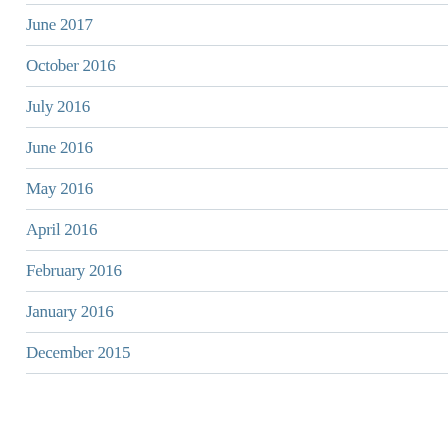June 2017
October 2016
July 2016
June 2016
May 2016
April 2016
February 2016
January 2016
December 2015